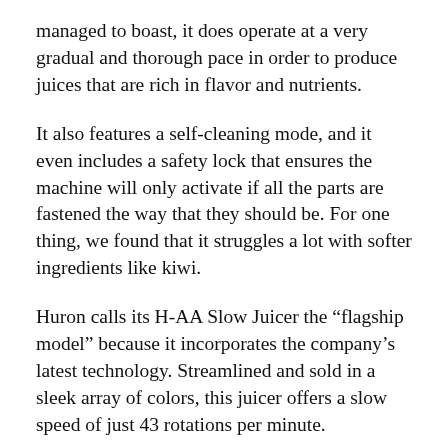managed to boast, it does operate at a very gradual and thorough pace in order to produce juices that are rich in flavor and nutrients.
It also features a self-cleaning mode, and it even includes a safety lock that ensures the machine will only activate if all the parts are fastened the way that they should be. For one thing, we found that it struggles a lot with softer ingredients like kiwi.
Huron calls its H-AA Slow Juicer the “flagship model” because it incorporates the company’s latest technology. Streamlined and sold in a sleek array of colors, this juicer offers a slow speed of just 43 rotations per minute.
The Huron H-101 Easy Clean Slow Juicer falls at the end of the list for one simple reason: its best feature is disappointing. The…